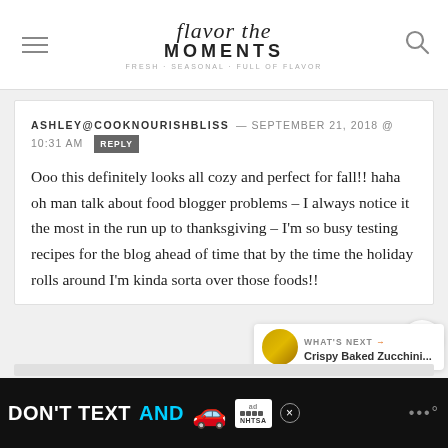Flavor the Moments — Fresh, Seasonal, Full of Flavor
ASHLEY@COOKNOURISHBLISS — SEPTEMBER 21, 2018 @ 10:31 AM  REPLY
Ooo this definitely looks all cozy and perfect for fall!! haha oh man talk about food blogger problems – I always notice it the most in the run up to thanksgiving – I'm so busy testing recipes for the blog ahead of time that by the time the holiday rolls around I'm kinda sorta over those foods!!
WHAT'S NEXT → Crispy Baked Zucchini...
[Figure (other): Advertisement banner: DON'T TEXT AND [car emoji] with NHTSA logo]